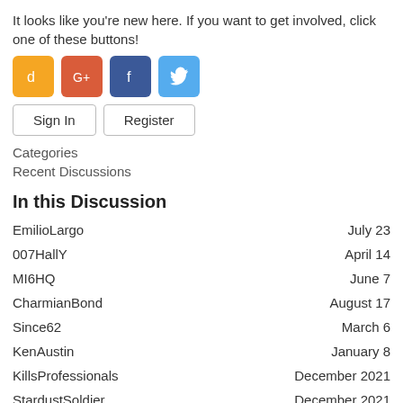It looks like you're new here. If you want to get involved, click one of these buttons!
[Figure (infographic): Four social login buttons: TikTok (orange), Google+ (red), Facebook (dark blue), Twitter (light blue)]
[Figure (infographic): Sign In and Register buttons]
Categories
Recent Discussions
In this Discussion
EmilioLargo    July 23
007HallY    April 14
MI6HQ    June 7
CharmianBond    August 17
Since62    March 6
KenAustin    January 8
KillsProfessionals    December 2021
StardustSoldier    December 2021